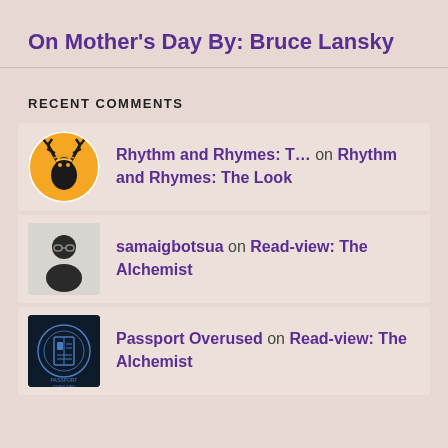On Mother's Day By: Bruce Lansky
RECENT COMMENTS
Rhythm and Rhymes: T… on Rhythm and Rhymes: The Look
samaigbotsua on Read-view: The Alchemist
Passport Overused on Read-view: The Alchemist